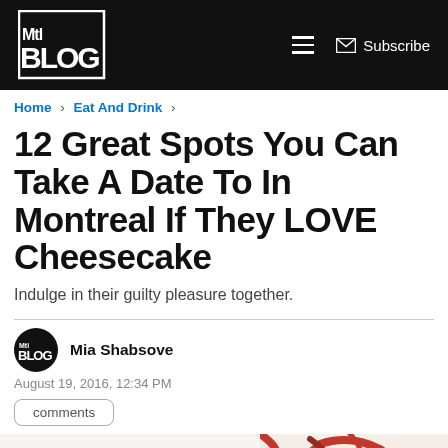MTL Blog — Home > Eat And Drink >
12 Great Spots You Can Take A Date To In Montreal If They LOVE Cheesecake
Indulge in their guilty pleasure together.
Mia Shabsove
August 19, 2016, 12:34 PM
comments
[Figure (photo): Close-up photo of a cheesecake slice with red berry drizzle on a white plate]